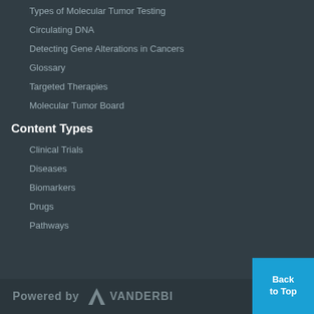Types of Molecular Tumor Testing
Circulating DNA
Detecting Gene Alterations in Cancers
Glossary
Targeted Therapies
Molecular Tumor Board
Content Types
Clinical Trials
Diseases
Biomarkers
Drugs
Pathways
Powered by VANDERBILT